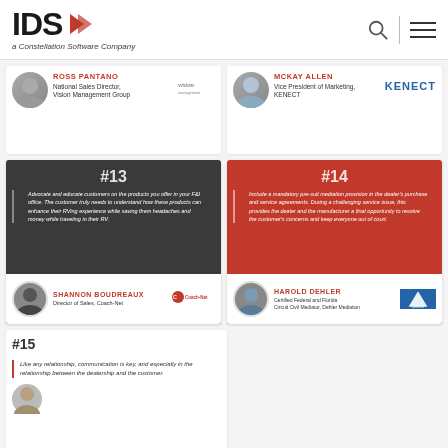[Figure (logo): IDS logo with arrow icon and tagline 'a Constellation Software Company']
ROSS PANTANO
National Sales Director, Vision Management Group
MCKAY ALLEN
Vice President of Marketing, KENECT
#13
Advocate and educate customers on the products you offer in your F&I office. The customer truly needs to understand how these products can enhance their RVing experience while saving them headaches and money while traveling in their RV.
Shannon Boudreaux
Director of Sales, Coach-Net
#14
Include a mandatory pre-suit mediation provision in the dealer's purchase and service agreements. During a challenging service issue, this provides the dealer and the manufacturer a final opportunity to resolve the customer's concerns and keep everyone out of court.
HAROLD DEHLER
Certified Federal and Florida Circuit Civil Mediator, Dehler Mediation
#15
Like any relationship, communication is key, and especially in the relationship between the dealership and the customer.